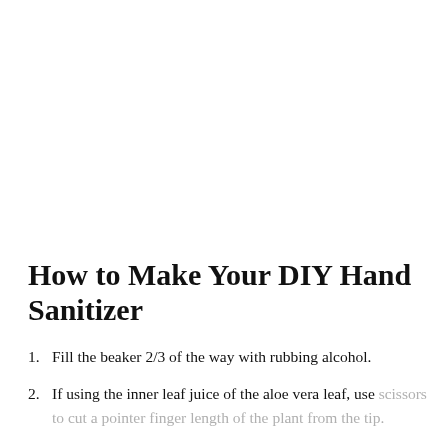How to Make Your DIY Hand Sanitizer
Fill the beaker 2/3 of the way with rubbing alcohol.
If using the inner leaf juice of the aloe vera leaf, use scissors to cut a pointer finger length of the plant from the tip.